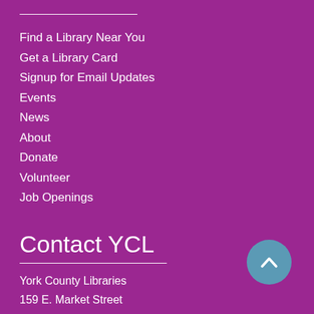Find a Library Near You
Get a Library Card
Signup for Email Updates
Events
News
About
Donate
Volunteer
Job Openings
Contact YCL
York County Libraries
159 E. Market Street